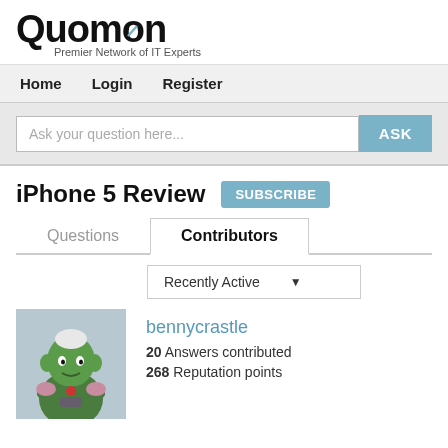[Figure (logo): Quomon logo with text 'Premier Network of IT Experts']
Home   Login   Register
Ask your question here...  ASK
iPhone 5 Review  SUBSCRIBE
Questions   Contributors
Recently Active
[Figure (photo): Avatar image of a green cartoon figure (Piccolo from Dragon Ball Z)]
bennycrastle
20 Answers contributed
268 Reputation points